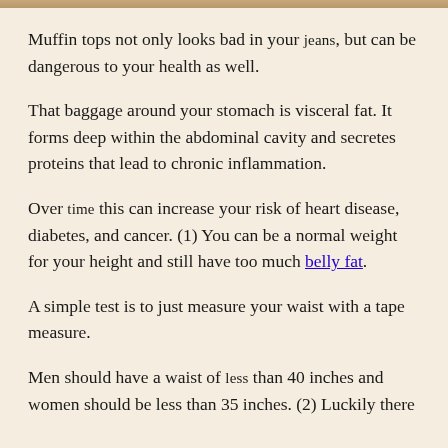[Figure (photo): Top portion of a photo visible at the top of the page, showing a person's midsection area related to belly fat/muffin top topic.]
Muffin tops not only looks bad in your jeans, but can be dangerous to your health as well.
That baggage around your stomach is visceral fat. It forms deep within the abdominal cavity and secretes proteins that lead to chronic inflammation.
Over time this can increase your risk of heart disease, diabetes, and cancer. (1) You can be a normal weight for your height and still have too much belly fat.
A simple test is to just measure your waist with a tape measure.
Men should have a waist of less than 40 inches and women should be less than 35 inches. (2) Luckily there